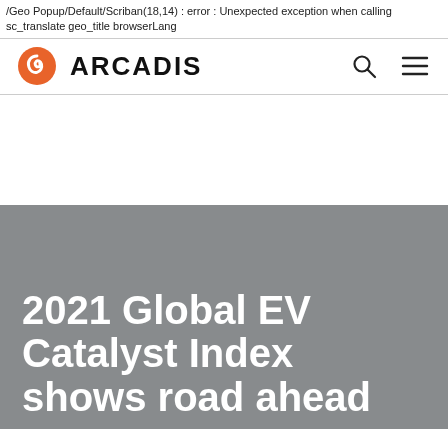/Geo Popup/Default/Scriban(18,14) : error : Unexpected exception when calling sc_translate geo_title browserLang
[Figure (logo): Arcadis logo with orange spiral icon and bold black ARCADIS text]
2021 Global EV Catalyst Index shows road ahead